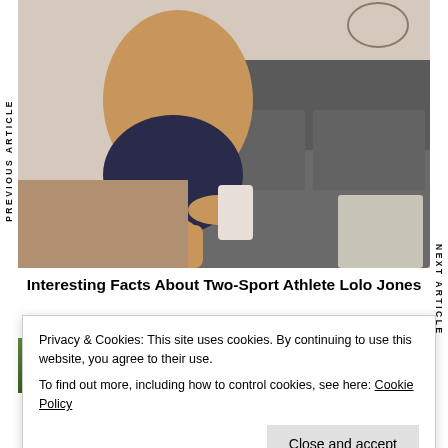[Figure (photo): Woman in athletic wear (sports bra) sitting on floor leaning against a sofa, looking at her phone, with earbuds in. Indoor home setting with grey sofa and decorative side table.]
Interesting Facts About Two-Sport Athlete Lolo Jones
[Figure (photo): Partial photo below, green outdoor background visible]
Privacy & Cookies: This site uses cookies. By continuing to use this website, you agree to their use.
To find out more, including how to control cookies, see here: Cookie Policy
Close and accept